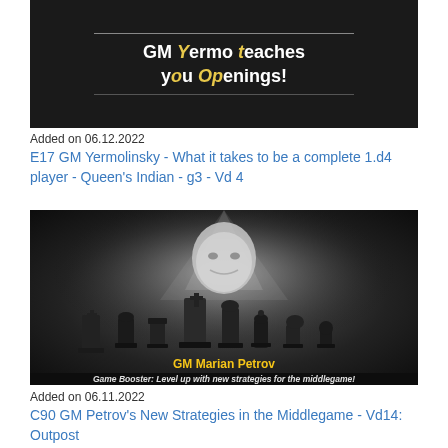[Figure (photo): Dark background promotional image for GM Yermolinsky chess openings course with decorative lines and styled text]
Added on 06.12.2022
E17 GM Yermolinsky - What it takes to be a complete 1.d4 player - Queen's Indian - g3 - Vd 4
[Figure (photo): Dark dramatic chess promotional image for GM Marian Petrov with chess pieces silhouette and text: GM Marian Petrov, Game Booster: Level up with new strategies for the middlegame!]
Added on 06.11.2022
C90 GM Petrov's New Strategies in the Middlegame - Vd14: Outpost